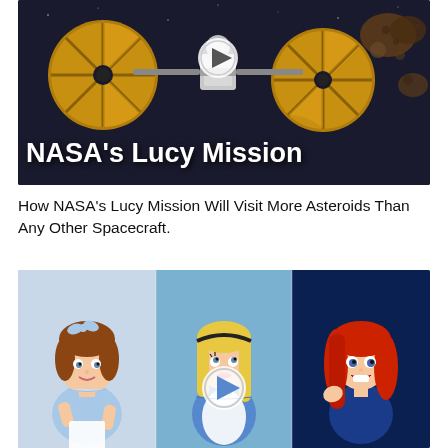[Figure (photo): NASA's Lucy Mission promotional image showing a spacecraft with large circular gold solar panels against a dark space background with asteroids. Text 'NASA's Lucy Mission' overlaid at the bottom. A play button icon is visible in the center.]
How NASA's Lucy Mission Will Visit More Asteroids Than Any Other Spacecraft.
[Figure (photo): Image showing three animated Disney female characters side by side: Wendy (Peter Pan) on the left in a light blue dress, Alice (Alice in Wonderland) in the center with blonde hair and blue/white dress, and Ariel (The Little Mermaid) on the right with red hair. A play button icon is visible in the center of the image.]